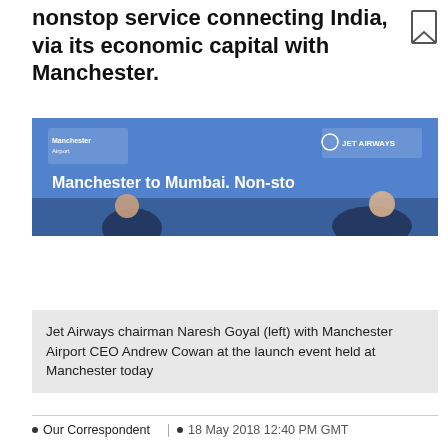nonstop service connecting India, via its economic capital with Manchester.
[Figure (photo): Press conference banner reading 'Manchester to Mumbai. Non-stop' with Manchester Airport and Jet Airways logos visible. Two people partially visible in foreground.]
Jet Airways chairman Naresh Goyal (left) with Manchester Airport CEO Andrew Cowan at the launch event held at Manchester today
Our Correspondent   18 May 2018 12:40 PM GMT